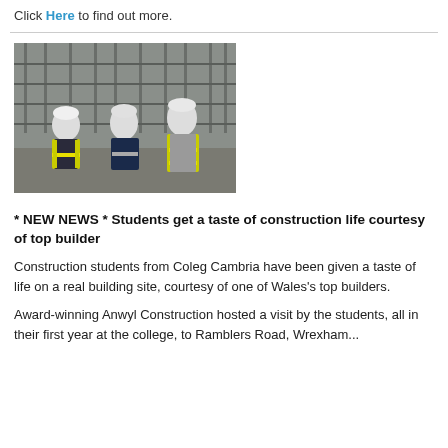Click Here to find out more.
[Figure (photo): Three construction students wearing high-visibility yellow vests and white hard hats standing in front of scaffolding at a building site.]
* NEW NEWS * Students get a taste of construction life courtesy of top builder
Construction students from Coleg Cambria have been given a taste of life on a real building site, courtesy of one of Wales's top builders.
Award-winning Anwyl Construction hosted a visit by the students, all in their first year at the college, to Ramblers Road, Wrexham...